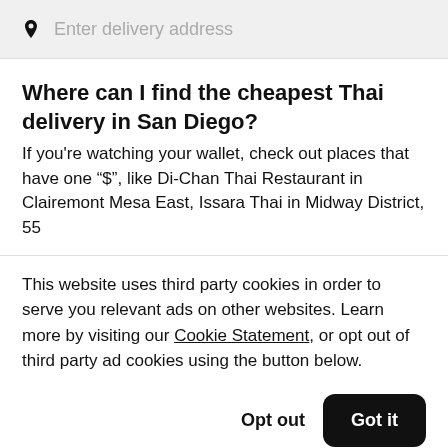Enter delivery address
Where can I find the cheapest Thai delivery in San Diego?
If you’re watching your wallet, check out places that have one “$”, like Di-Chan Thai Restaurant in Clairemont Mesa East, Issara Thai in Midway District, 55
This website uses third party cookies in order to serve you relevant ads on other websites. Learn more by visiting our Cookie Statement, or opt out of third party ad cookies using the button below.
Opt out
Got it